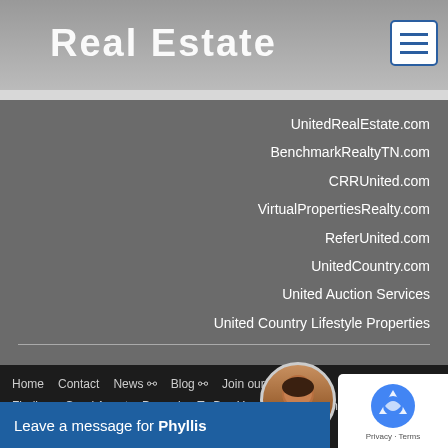Real Estate
UnitedRealEstate.com
BenchmarkRealtyTN.com
CRRUnited.com
VirtualPropertiesRealty.com
ReferUnited.com
UnitedCountry.com
United Auction Services
United Country Lifestyle Properties
Home  Contact  News  Blog  Join our team  Finding a Good Agent  Preparing To Buy Your Home  Finding A Property  Making An O...  Fin...  Home I...  Prep...
Leave a message for Phyllis